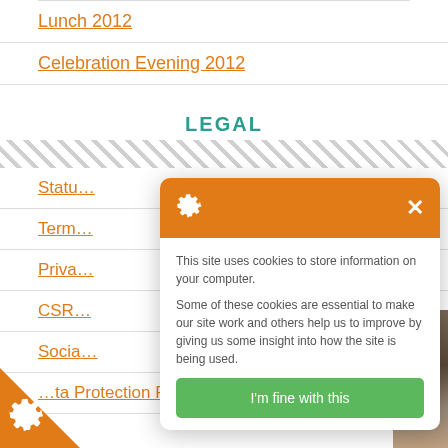Lunch 2012
Celebration Evening 2012
LEGAL
Statu…
Term…
Priva…
CSR…
Socia…
…ta Protection Policy
[Figure (screenshot): Cookie consent modal popup with orange header containing gear icon and X close button. Body text: 'This site uses cookies to store information on your computer. Some of these cookies are essential to make our site work and others help us to improve by giving us some insight into how the site is being used.' Green button reading 'I'm fine with this'.]